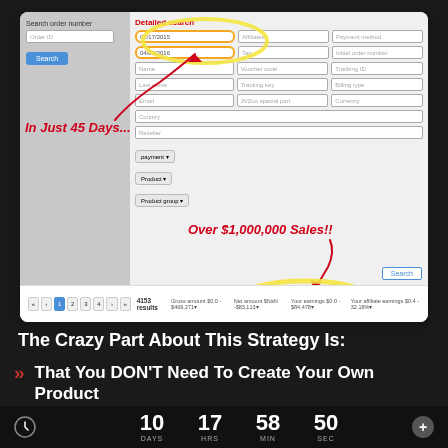[Figure (screenshot): Screenshot of an order management/search interface showing date range 02/17/2015 to 04/03/2016 with 4153 results, annotated with 'In Just 45 Days...' and 'Over $1,000,000 Sales!!' in red italic text, with yellow circle highlights around date fields and results count]
The Crazy Part About This Strategy Is:
That You DON'T Need To Create Your Own Product
10 DAYS  17 HRS  58 MIN  50 SEC